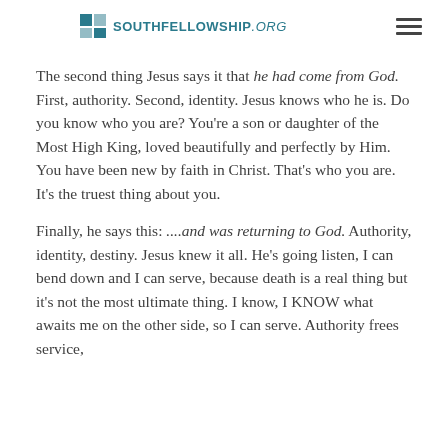SOUTHFELLOWSHIP.org
The second thing Jesus says it that he had come from God. First, authority. Second, identity. Jesus knows who he is. Do you know who you are? You're a son or daughter of the Most High King, loved beautifully and perfectly by Him. You have been new by faith in Christ. That's who you are. It's the truest thing about you.
Finally, he says this: ....and was returning to God. Authority, identity, destiny. Jesus knew it all. He's going listen, I can bend down and I can serve, because death is a real thing but it's not the most ultimate thing. I know, I KNOW what awaits me on the other side, so I can serve. Authority frees service,